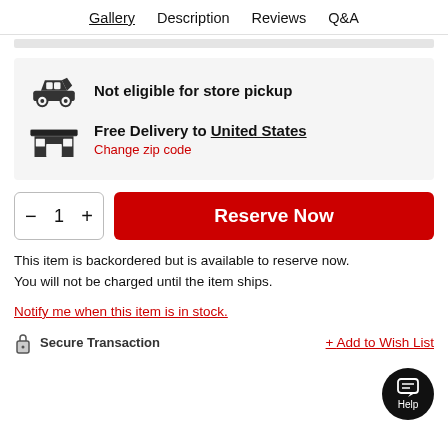Gallery  Description  Reviews  Q&A
[Figure (screenshot): Gray horizontal bar suggesting a UI element or image placeholder]
Not eligible for store pickup
Free Delivery to United States
Change zip code
Reserve Now
This item is backordered but is available to reserve now. You will not be charged until the item ships.
Notify me when this item is in stock.
Secure Transaction
+ Add to Wish List